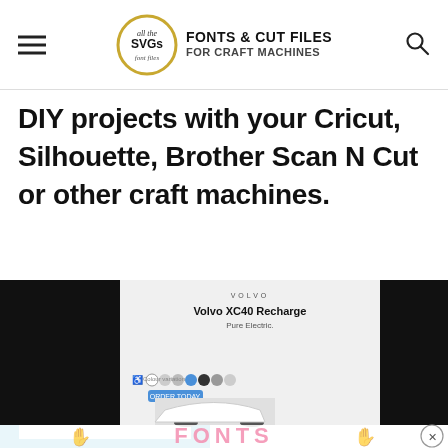all the SVGs — FONTS & CUT FILES FOR CRAFT MACHINES
DIY projects with your Cricut, Silhouette, Brother Scan N Cut or other craft machines.
[Figure (screenshot): Screenshot showing a webpage with a Volvo XC40 Recharge advertisement overlay, blue craft mat with white sheet, and a partially visible banner with 'FONTS' text and hand graphics in pink.]